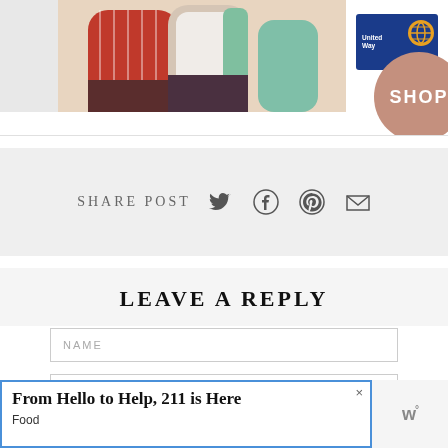[Figure (photo): People in colorful clothing (red striped, teal cardigan) partially visible in top photo strip]
[Figure (logo): United Way logo — blue rectangle with white text 'United Way' and globe icon]
[Figure (illustration): Pink/salmon circular button with white text 'SHOP']
SHARE POST
[Figure (infographic): Social sharing icons: Twitter bird, Facebook circle, Pinterest circle, Email envelope]
LEAVE A REPLY
NAME
EMAIL
From Hello to Help, 211 is Here
Food